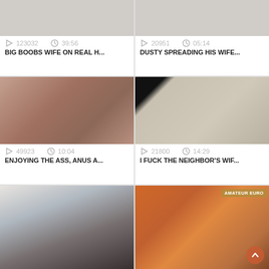[Figure (screenshot): Video thumbnail top-left: blank/light gray placeholder with play stats 123032 views 39:56 duration, title BIG BOOBS WIFE ON REAL H...]
[Figure (screenshot): Video thumbnail top-right: blank/light gray placeholder with play stats 20951 views 05:14 duration, title DUSTY SPREADING HIS WIFE...]
[Figure (photo): Video thumbnail middle-left: explicit adult content photo, stats 49923 views 10:04 duration, title ENJOYING THE ASS, ANUS A...]
[Figure (photo): Video thumbnail middle-right: explicit adult content photo with man in sunglasses, stats 21800 views 14:29 duration, title I FUCK THE NEIGHBOR'S WIF...]
[Figure (photo): Video thumbnail bottom-left: adult content photo]
[Figure (photo): Video thumbnail bottom-right: adult content photo with AMATEUR EURO watermark and scroll-up button overlay]